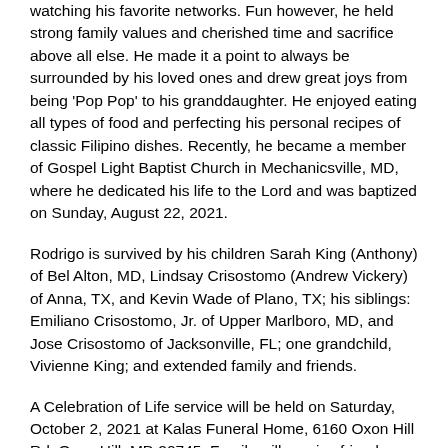watching his favorite networks. Fun however, he held strong family values and cherished time and sacrifice above all else. He made it a point to always be surrounded by his loved ones and drew great joys from being 'Pop Pop' to his granddaughter. He enjoyed eating all types of food and perfecting his personal recipes of classic Filipino dishes. Recently, he became a member of Gospel Light Baptist Church in Mechanicsville, MD, where he dedicated his life to the Lord and was baptized on Sunday, August 22, 2021.
Rodrigo is survived by his children Sarah King (Anthony) of Bel Alton, MD, Lindsay Crisostomo (Andrew Vickery) of Anna, TX, and Kevin Wade of Plano, TX; his siblings: Emiliano Crisostomo, Jr. of Upper Marlboro, MD, and Jose Crisostomo of Jacksonville, FL; one grandchild, Vivienne King; and extended family and friends.
A Celebration of Life service will be held on Saturday, October 2, 2021 at Kalas Funeral Home, 6160 Oxon Hill Rd, Oxon Hill, MD 20745. Family will receive friends prior to service between 10:00 a.m. - 11:00 a.m. Interment will be held at Resurrection Cemetery, 8000 Woodyard Rd, Clinton, MD 20735, where Rodrigo will be laid to rest next to his mother and two sisters.
Arrangements and condolences can be sent to Kalas Funeral